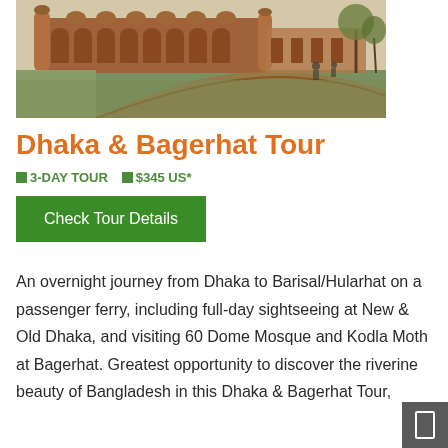[Figure (photo): Photograph of a historic mosque in Bagerhat, Bangladesh — red brick structure with arched colonnades, domed roofline, and manicured grounds with a curved brick pathway and trees]
Dhaka & Bagerhat Tour
🔲 3-DAY TOUR  🔲 $345 US*
Check Tour Details
An overnight journey from Dhaka to Barisal/Hularhat on a passenger ferry, including full-day sightseeing at New & Old Dhaka, and visiting 60 Dome Mosque and Kodla Moth at Bagerhat. Greatest opportunity to discover the riverine beauty of Bangladesh in this Dhaka & Bagerhat Tour,